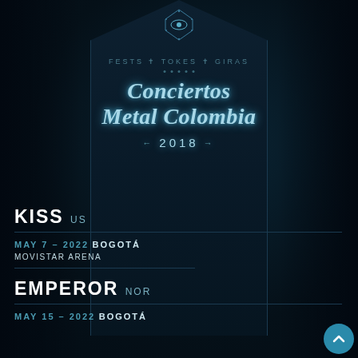[Figure (logo): Eye symbol / all-seeing eye logo at top of tombstone arch]
FESTS ✝ TOKES ✝ GIRAS
Conciertos Metal Colombia
← 2018 →
KISS US
MAY 7 – 2022 BOGOTÁ
MOVISTAR ARENA
EMPEROR NOR
MAY 15 – 2022 BOGOTÁ